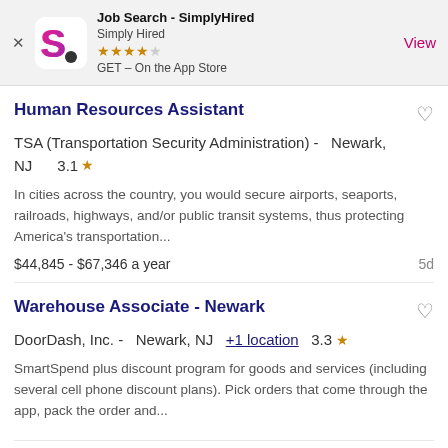[Figure (screenshot): App store banner for Job Search - SimplyHired app showing logo, star rating, and View button]
Human Resources Assistant
TSA (Transportation Security Administration) - Newark, NJ   3.1 ★
In cities across the country, you would secure airports, seaports, railroads, highways, and/or public transit systems, thus protecting America's transportation...
$44,845 - $67,346 a year   5d
Warehouse Associate - Newark
DoorDash, Inc. -  Newark, NJ  +1 location  3.3 ★
SmartSpend plus discount program for goods and services (including several cell phone discount plans). Pick orders that come through the app, pack the order and...